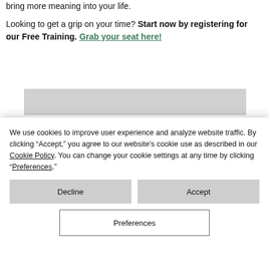bring more meaning into your life.
Looking to get a grip on your time? Start now by registering for our Free Training. Grab your seat here!
[Figure (other): Gray placeholder image/banner area]
We use cookies to improve user experience and analyze website traffic. By clicking “Accept,” you agree to our website’s cookie use as described in our Cookie Policy. You can change your cookie settings at any time by clicking “Preferences.”